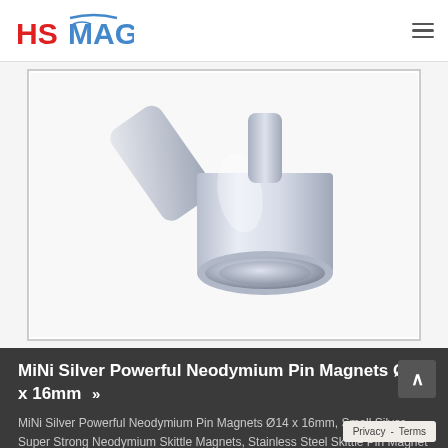HSMAG
[Figure (photo): Close-up photo of a chrome/silver neodymium pin magnet with cylindrical body and round magnetic face, shown on a white background]
MiNi Silver Powerful Neodymium Pin Magnets Ø14 x 16mm >>
MiNi Silver Powerful Neodymium Pin Magnets Ø14 x 16mm, Small Silver Super Strong Neodymium Skittle Magnets, Stainless Steel Skittle Pin Magnet Neodymium Pin Magnets Part No.: HS-PSM-14MS